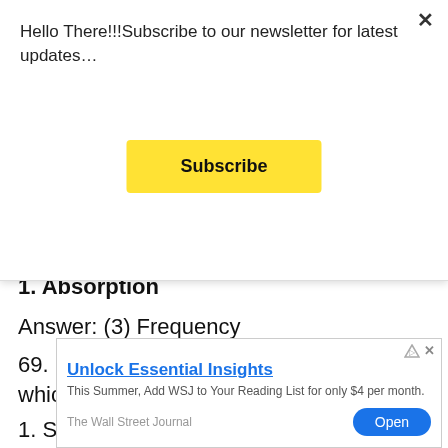Hello There!!!Subscribe to our newsletter for latest updates…
Subscribe
1. Absorption
Answer: (3) Frequency
69. Ridge ending can also be said as which of the following:
1. Salter's detail
[Figure (screenshot): Advertisement banner: Unlock Essential Insights - This Summer, Add WSJ to Your Reading List for only $4 per month. The Wall Street Journal. Open button.]